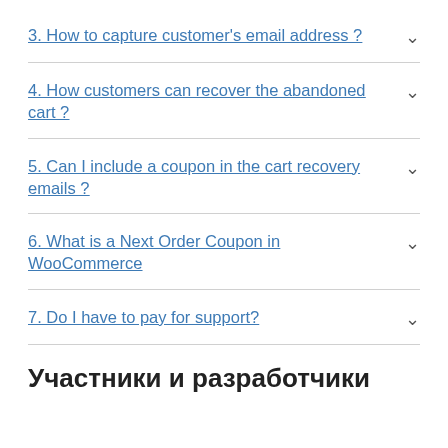3. How to capture customer's email address ?
4. How customers can recover the abandoned cart ?
5. Can I include a coupon in the cart recovery emails ?
6. What is a Next Order Coupon in WooCommerce
7. Do I have to pay for support?
Участники и разработчики